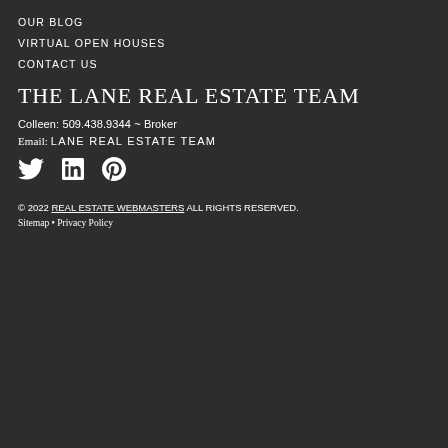OUR BLOG
VIRTUAL OPEN HOUSES
CONTACT US
THE LANE REAL ESTATE TEAM
Colleen: 509.438.9344 ~ Broker
Email: LANE REAL ESTATE TEAM
[Figure (illustration): Social media icons: Twitter bird, LinkedIn 'in', Pinterest circle 'P']
© 2022 REAL ESTATE WEBMASTERS ALL RIGHTS RESERVED.
Sitemap • Privacy Policy